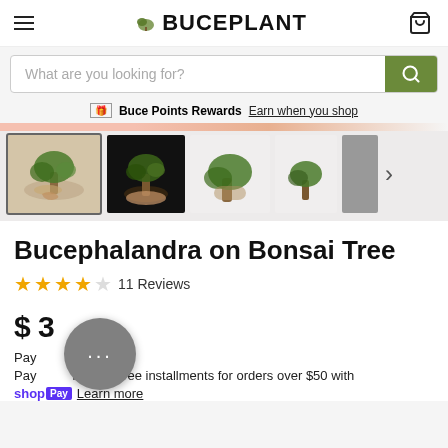BUCEPLANT
What are you looking for?
Buce Points Rewards  Earn when you shop
[Figure (photo): Carousel of bonsai tree product thumbnails: 5 images showing Bucephalandra on Bonsai Tree from different angles]
Bucephalandra on Bonsai Tree
★★★★☆ 11 Reviews
$ 3
Pay interest-free installments for orders over $50 with
shop Pay  Learn more